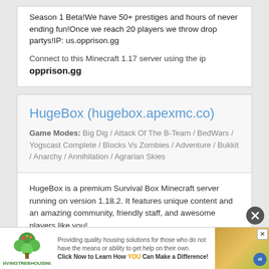Season 1 Beta!We have 50+ prestiges and hours of never ending fun!Once we reach 20 players we throw drop partys!IP: us.opprison.gg
Connect to this Minecraft 1.17 server using the ip opprison.gg
HugeBox (hugebox.apexmc.co)
Game Modes: Big Dig / Attack Of The B-Team / BedWars / Yogscast Complete / Blocks Vs Zombies / Adventure / Bukkit / Anarchy / Annihilation / Agrarian Skies
HugeBox is a premium Survival Box Minecraft server running on version 1.18.2. It features unique content and an amazing community, friendly staff, and awesome players like you!
[Figure (infographic): Advertisement banner for GivingTreeHousing: logo on left, text in center reading 'Providing quality housing solutions for those who do not have the means or ability to get help on their own. Click Now to Learn How YOU Can Make a Difference!', photo of hands on right.]